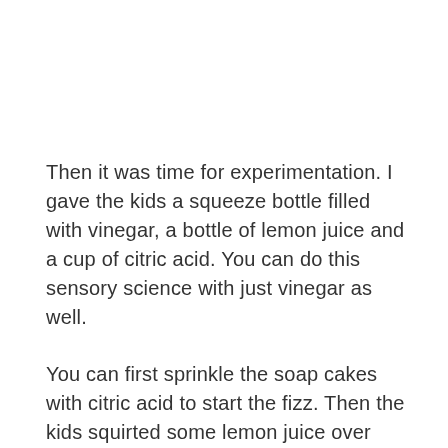Then it was time for experimentation. I gave the kids a squeeze bottle filled with vinegar, a bottle of lemon juice and a cup of citric acid. You can do this sensory science with just vinegar as well.
You can first sprinkle the soap cakes with citric acid to start the fizz. Then the kids squirted some lemon juice over them.